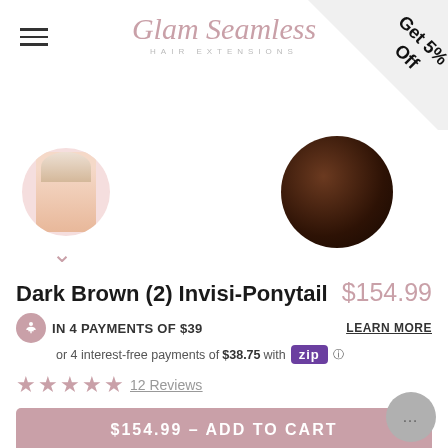Glam Seamless Hair Extensions
[Figure (photo): Corner ribbon with text 'Get 5% Off']
[Figure (photo): Product thumbnail circle image with model, and dark brown hair circle image]
Dark Brown (2) Invisi-Ponytail $154.99
IN 4 PAYMENTS OF $39   LEARN MORE
or 4 interest-free payments of $38.75 with Zip ℹ
★★★★★ 12 Reviews
$154.99 – ADD TO CART
Note: This is a final sale item - no exchanges or returns
IN STOCK: SHIPS TODAY IF YOU ORDER IN THE NEXT 12 HOURS 27 MINUTES 50 SECONDS!